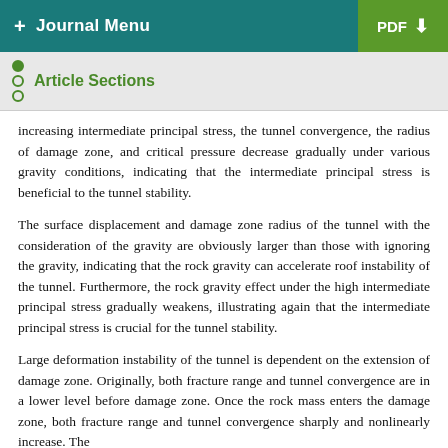+ Journal Menu   PDF ⬇
Article Sections
increasing intermediate principal stress, the tunnel convergence, the radius of damage zone, and critical pressure decrease gradually under various gravity conditions, indicating that the intermediate principal stress is beneficial to the tunnel stability.
The surface displacement and damage zone radius of the tunnel with the consideration of the gravity are obviously larger than those with ignoring the gravity, indicating that the rock gravity can accelerate roof instability of the tunnel. Furthermore, the rock gravity effect under the high intermediate principal stress gradually weakens, illustrating again that the intermediate principal stress is crucial for the tunnel stability.
Large deformation instability of the tunnel is dependent on the extension of damage zone. Originally, both fracture range and tunnel convergence are in a lower level before damage zone. Once the rock mass enters the damage zone, both fracture range and tunnel convergence sharply and nonlinearly increase. The